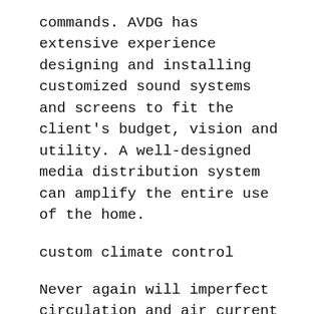commands. AVDG has extensive experience designing and installing customized sound systems and screens to fit the client's budget, vision and utility. A well-designed media distribution system can amplify the entire use of the home.
custom climate control
Never again will imperfect circulation and air current within a home cause certain rooms to be less comfortable than others. With state-of-the-art climate control systems, you can automate each room to the ideal